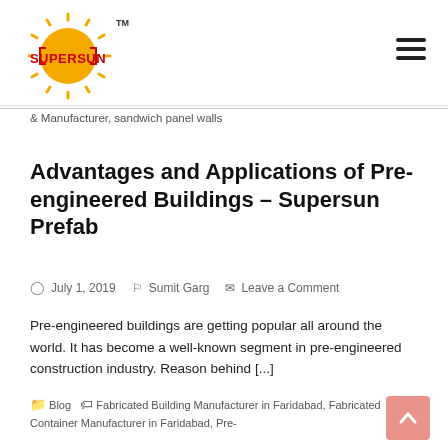[Figure (logo): Supersun logo — yellow sun with red text SUPERSUN and TM mark]
& Manufacturer, sandwich panel walls
Advantages and Applications of Pre-engineered Buildings – Supersun Prefab
July 1, 2019   Sumit Garg   Leave a Comment
Pre-engineered buildings are getting popular all around the world. It has become a well-known segment in pre-engineered construction industry. Reason behind [...]
Blog   Fabricated Building Manufacturer in Faridabad, Fabricated Container Manufacturer in Faridabad, Pre-engineered Buildings Supersun Prefab